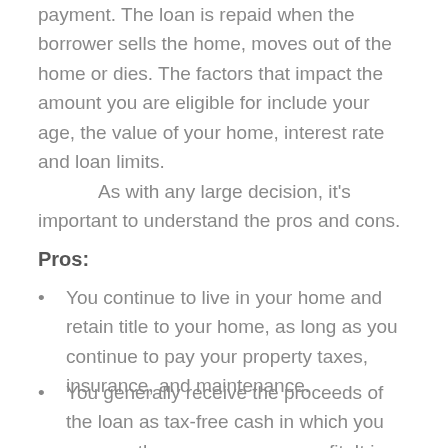payment. The loan is repaid when the borrower sells the home, moves out of the home or dies. The factors that impact the amount you are eligible for include your age, the value of your home, interest rate and loan limits. As with any large decision, it's important to understand the pros and cons.
Pros:
You continue to live in your home and retain title to your home, as long as you continue to pay your property taxes, insurance, and maintenance.
You generally receive the proceeds of the loan as tax-free cash in which you can use the money as you see fit. It is